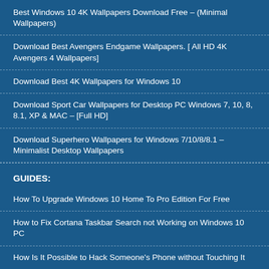Best Windows 10 4K Wallpapers Download Free – (Minimal Wallpapers)
Download Best Avengers Endgame Wallpapers. [ All HD 4K Avengers 4 Wallpapers]
Download Best 4K Wallpapers for Windows 10
Download Sport Car Wallpapers for Desktop PC Windows 7, 10, 8, 8.1, XP & MAC – [Full HD]
Download Superhero Wallpapers for Windows 7/10/8/8.1 – Minimalist Desktop Wallpapers
GUIDES:
How To Upgrade Windows 10 Home To Pro Edition For Free
How to Fix Cortana Taskbar Search not Working on Windows 10 PC
How Is It Possible to Hack Someone's Phone without Touching It